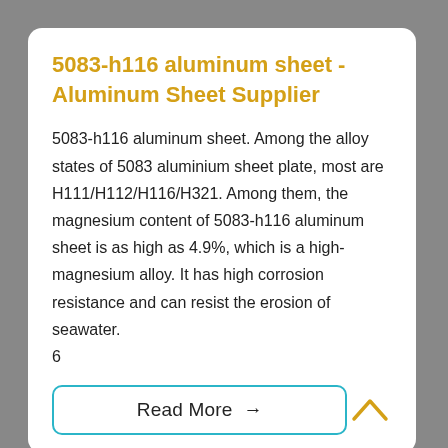5083-h116 aluminum sheet - Aluminum Sheet Supplier
5083-h116 aluminum sheet. Among the alloy states of 5083 aluminium sheet plate, most are H111/H112/H116/H321. Among them, the magnesium content of 5083-h116 aluminum sheet is as high as 4.9%, which is a high-magnesium alloy. It has high corrosion resistance and can resist the erosion of seawater.
6